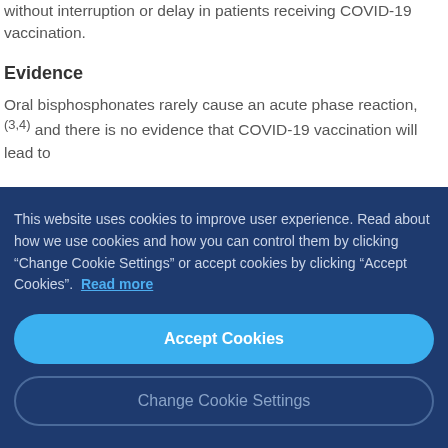without interruption or delay in patients receiving COVID-19 vaccination.
Evidence
Oral bisphosphonates rarely cause an acute phase reaction,(3,4) and there is no evidence that COVID-19 vaccination will lead to
This website uses cookies to improve user experience. Read about how we use cookies and how you can control them by clicking “Change Cookie Settings” or accept cookies by clicking “Accept Cookies”. Read more
Accept Cookies
Change Cookie Settings